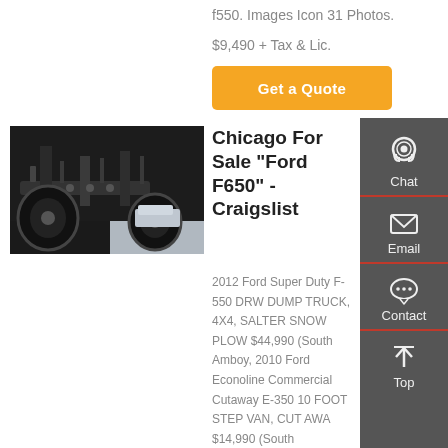f550. Images Icon 31 Photos.
$9,490 + Tax & Lic.
[Figure (other): Orange 'Get a Quote' button]
[Figure (photo): Undercarriage of a heavy duty truck, dark background, wheels visible]
Chicago For Sale "Ford F650" - Craigslist
2012 Ford Super Duty F-550 DRW DUMP TRUCK, 4X4, SALTER SNOW PLOW $44,990 (South Amboy, 2010 Ford Econoline Commercial Cutaway E-350 10 FOOT STEP VAN, CUT AWA $14,990 (South